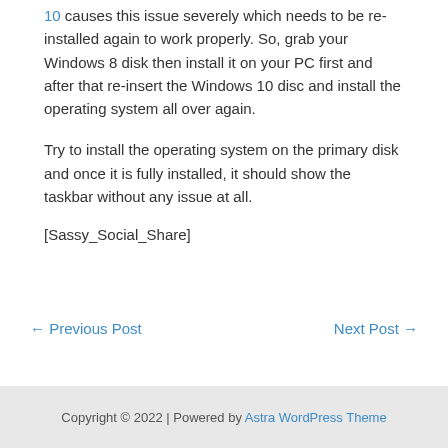10 causes this issue severely which needs to be re-installed again to work properly. So, grab your Windows 8 disk then install it on your PC first and after that re-insert the Windows 10 disc and install the operating system all over again.
Try to install the operating system on the primary disk and once it is fully installed, it should show the taskbar without any issue at all.
[Sassy_Social_Share]
← Previous Post    Next Post →
Copyright © 2022 | Powered by Astra WordPress Theme